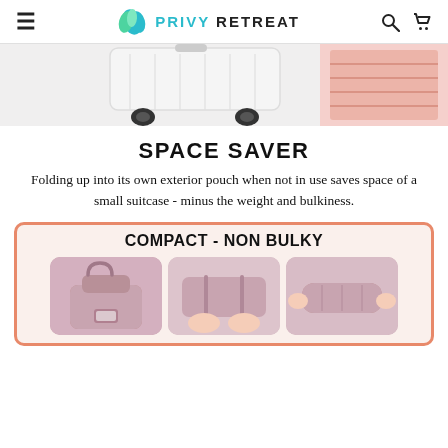PRIVY RETREAT
[Figure (photo): Product photo showing a white hardshell rolling suitcase next to a pink door detail]
SPACE SAVER
Folding up into its own exterior pouch when not in use saves space of a small suitcase - minus the weight and bulkiness.
[Figure (photo): COMPACT - NON BULKY: Three photos showing a pink travel bag, being folded/compressed, and rolled up small]